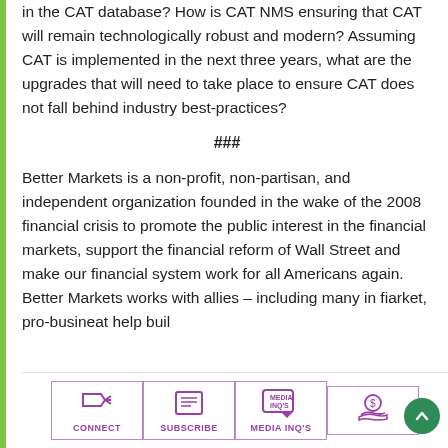in the CAT database? How is CAT NMS ensuring that CAT will remain technologically robust and modern? Assuming CAT is implemented in the next three years, what are the upgrades that will need to take place to ensure CAT does not fall behind industry best-practices?
###
Better Markets is a non-profit, non-partisan, and independent organization founded in the wake of the 2008 financial crisis to promote the public interest in the financial markets, support the financial reform of Wall Street and make our financial system work for all Americans again. Better Markets works with allies – including many in fi… to promote pro-market, pro-business… that help build…